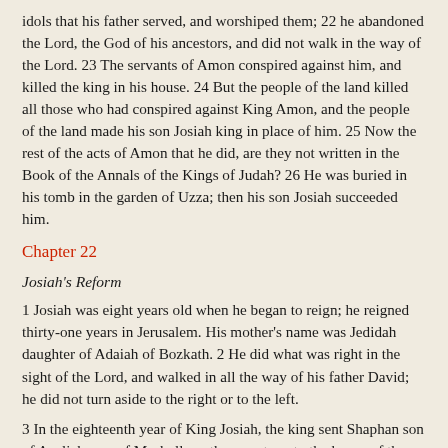idols that his father served, and worshiped them; 22 he abandoned the Lord, the God of his ancestors, and did not walk in the way of the Lord. 23 The servants of Amon conspired against him, and killed the king in his house. 24 But the people of the land killed all those who had conspired against King Amon, and the people of the land made his son Josiah king in place of him. 25 Now the rest of the acts of Amon that he did, are they not written in the Book of the Annals of the Kings of Judah? 26 He was buried in his tomb in the garden of Uzza; then his son Josiah succeeded him.
Chapter 22
Josiah's Reform
1 Josiah was eight years old when he began to reign; he reigned thirty-one years in Jerusalem. His mother's name was Jedidah daughter of Adaiah of Bozkath. 2 He did what was right in the sight of the Lord, and walked in all the way of his father David; he did not turn aside to the right or to the left.
3 In the eighteenth year of King Josiah, the king sent Shaphan son of Azaliah, son of Meshullam, the secretary, to the house of the Lord, saying, 4 "Go up to the high priest Hilkiah, and have him count the entire sum of the money that has been brought into the house of the Lord, which the keepers of the threshold have